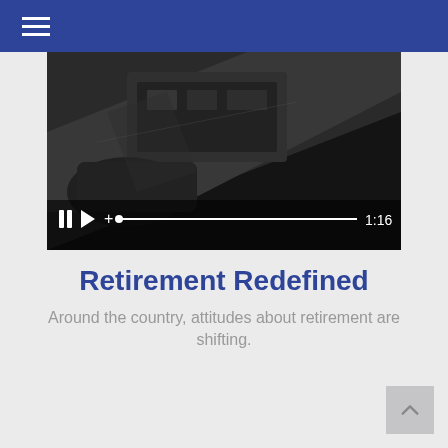[Figure (screenshot): Video player showing a dark cinematic scene with a car and building, controls at bottom showing pause, play, and timeline with time 1:16]
Retirement Redefined
Around the country, attitudes about retirement are shifting.
LEARN MORE